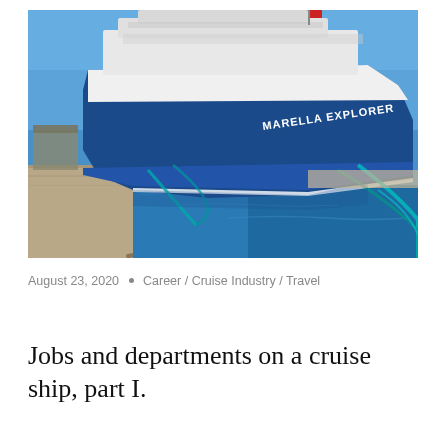[Figure (photo): Photograph of the Marella Explorer cruise ship docked at a port. The large blue and white cruise ship dominates the image, with mooring ropes visible and blue sea water in the background under a clear blue sky.]
August 23, 2020 • Career / Cruise Industry / Travel
Jobs and departments on a cruise ship, part I.